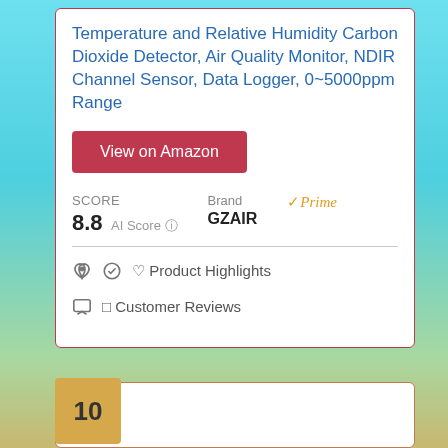Temperature and Relative Humidity Carbon Dioxide Detector, Air Quality Monitor, NDIR Channel Sensor, Data Logger, 0~5000ppm Range
View on Amazon
SCORE 8.8 AI Score  Brand GZAIR  Prime
Product Highlights
Customer Reviews
10